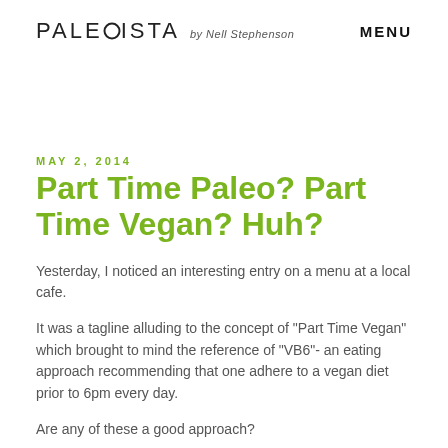PALEØISTA by Nell Stephenson   MENU
MAY 2, 2014
Part Time Paleo? Part Time Vegan? Huh?
Yesterday, I noticed an interesting entry on a menu at a local cafe.
It was a tagline alluding to the concept of "Part Time Vegan" which brought to mind the reference of "VB6"- an eating approach recommending that one adhere to a vegan diet prior to 6pm every day.
Are any of these a good approach?
It depends.